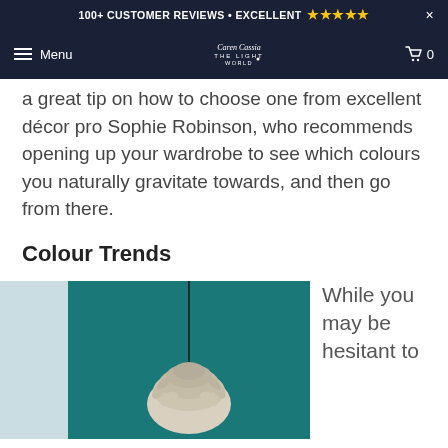100+ CUSTOMER REVIEWS • EXCELLENT ★★★★★
Menu  [logo]  0
a great tip on how to choose one from excellent décor pro Sophie Robinson, who recommends opening up your wardrobe to see which colours you naturally gravitate towards, and then go from there.
Colour Trends
[Figure (photo): A pendant lamp with leaf-like shade hanging against a teal/dark green background, with a light blue panel on the left]
While you may be hesitant to